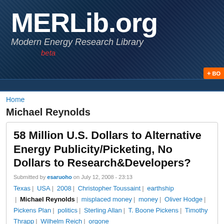MERLib.org Modern Energy Research Library beta
Home
Michael Reynolds
58 Million U.S. Dollars to Alternative Energy Publicity/Picketing, No Dollars to Research&Developers?
Submitted by esaruoho on July 12, 2008 - 23:13
Texas | USA | 2008 | Christopher Toussaint | earthship | Michael Reynolds | misplaced money | money | Oliver Hodge | Pickens Plan | politics | Sterling Allan | T. Boone Pickens | Timothy Thrapp | Wilhelm Reich | orgone http://www.guardian.co.uk/environment/2008/jul/09/energy.energy
says: